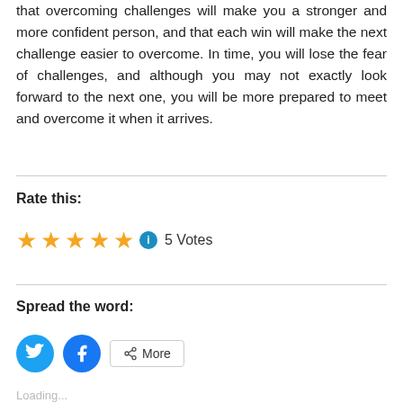that overcoming challenges will make you a stronger and more confident person, and that each win will make the next challenge easier to overcome. In time, you will lose the fear of challenges, and although you may not exactly look forward to the next one, you will be more prepared to meet and overcome it when it arrives.
Rate this:
★★★★★ ⓘ 5 Votes
Spread the word:
[Figure (other): Twitter share button (blue circle with Twitter bird icon), Facebook share button (blue circle with Facebook 'f' icon), and a 'More' share button with share icon]
Loading...